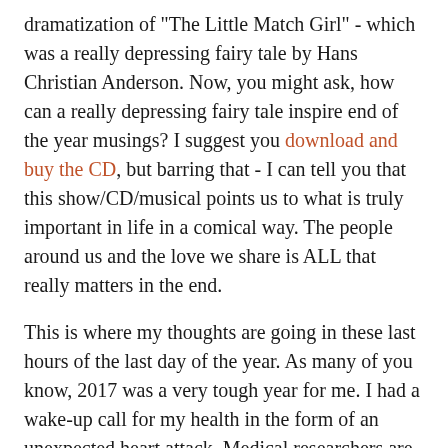dramatization of "The Little Match Girl" - which was a really depressing fairy tale by Hans Christian Anderson.  Now, you might ask, how can a really depressing fairy tale inspire end of the year musings?  I suggest you download and buy the CD, but barring that - I can tell you that this show/CD/musical points us to what is truly important in life in a comical way.   The people around us and the love we share is ALL that really matters in the end.
This is where my thoughts are going in these last hours of the last day of the year.  As many of you know, 2017 was a very tough year for me.  I had a wake-up call for my health in the form of an unexpected heart attack.  Medical researchers are just beginning to scratch the